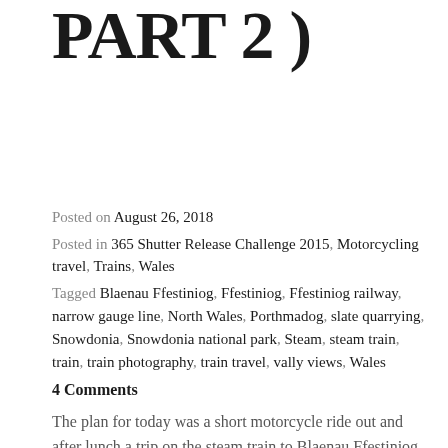PART 2 )
Posted on August 26, 2018
Posted in 365 Shutter Release Challenge 2015, Motorcycling travel, Trains, Wales
Tagged Blaenau Ffestiniog, Ffestiniog, Ffestiniog railway, narrow gauge line, North Wales, Porthmadog, slate quarrying, Snowdonia, Snowdonia national park, Steam, steam train, train, train photography, train travel, vally views, Wales
4 Comments
The plan for today was a short motorcycle ride out and after lunch a trip on the steam train to Blaenau Ffestiniog. It was a slate mining town in the mountains of the Snowdonia national park. So has it turned out the